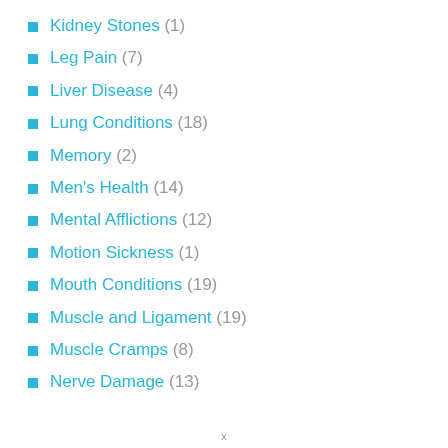Kidney Stones (1)
Leg Pain (7)
Liver Disease (4)
Lung Conditions (18)
Memory (2)
Men's Health (14)
Mental Afflictions (12)
Motion Sickness (1)
Mouth Conditions (19)
Muscle and Ligament (19)
Muscle Cramps (8)
Nerve Damage (13)
x